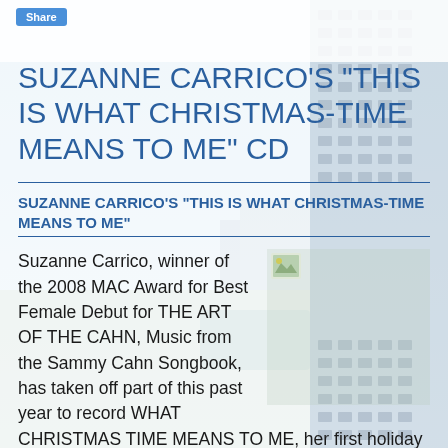Share
SUZANNE CARRICO'S "THIS IS WHAT CHRISTMAS-TIME MEANS TO ME" CD
SUZANNE CARRICO'S "THIS IS WHAT CHRISTMAS-TIME MEANS TO ME"
Suzanne Carrico, winner of the 2008 MAC Award for Best Female Debut for THE ART OF THE CAHN, Music from the Sammy Cahn Songbook, has taken off part of this past year to record WHAT CHRISTMAS TIME MEANS TO ME, her first holiday CD. She will be joined by The Don Rebic Quartet, Dan Gross on percussion, Jim DiMatteo on bass & Windham Hill recording artist, Sean Harkness on guitar. On the CD will
[Figure (photo): Background aerial photo of a coastal city with buildings and pool area, and a small thumbnail image placeholder in the article area]